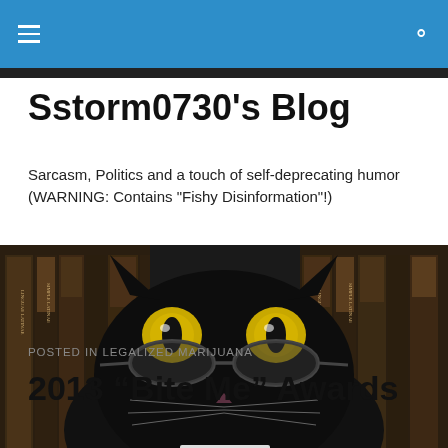Sstorm0730's Blog navigation bar
Sstorm0730's Blog
Sarcasm, Politics and a touch of self-deprecating humor (WARNING: Contains "Fishy Disinformation"!)
[Figure (photo): A black cat wearing glasses, peeking over a stack of books, with old Latin books visible in the background.]
POSTED IN LEGALIZED MARIJUANA
2013 “Bite Me” Awards